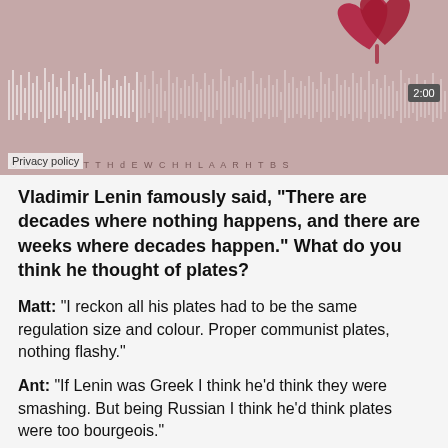[Figure (screenshot): Audio player widget with waveform visualization, red heart shapes at top, timestamp 2:00, and letter characters along the bottom. Privacy policy label visible at bottom-left.]
Vladimir Lenin famously said, “There are decades where nothing happens, and there are weeks where decades happen.” What do you think he thought of plates?
Matt: "I reckon all his plates had to be the same regulation size and colour. Proper communist plates, nothing flashy."
Ant: "If Lenin was Greek I think he’d think they were smashing. But being Russian I think he’d think plates were too bourgeois."
If all the audio formats had a laser battle in space, who would win and why?